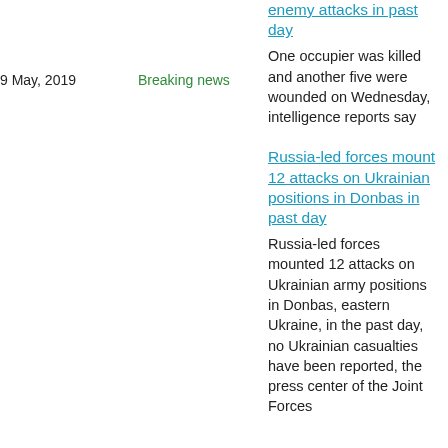9 May, 2019
Breaking news
enemy attacks in past day
One occupier was killed and another five were wounded on Wednesday, intelligence reports say
Russia-led forces mount 12 attacks on Ukrainian positions in Donbas in past day
16 April, 2019
Breaking news
Russia-led forces mounted 12 attacks on Ukrainian army positions in Donbas, eastern Ukraine, in the past day, no Ukrainian casualties have been reported, the press center of the Joint Forces